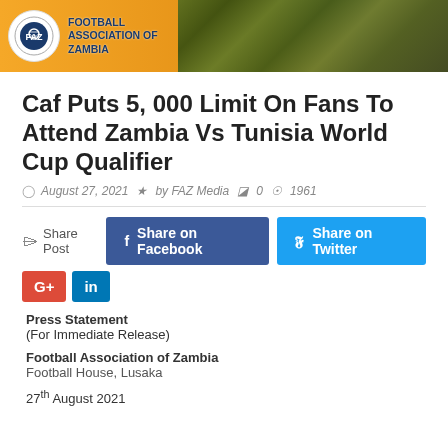[Figure (logo): Football Association of Zambia header banner with logo and fans in background]
Caf Puts 5, 000 Limit On Fans To Attend Zambia Vs Tunisia World Cup Qualifier
August 27, 2021  by FAZ Media  0  1961
Share Post  Share on Facebook  Share on Twitter  G+  in
Press Statement
(For Immediate Release)

Football Association of Zambia
Football House, Lusaka

27th August 2021